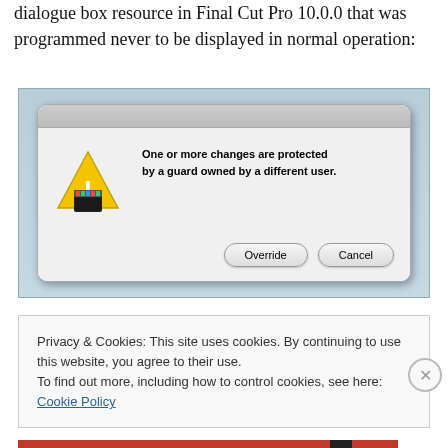hints that multiuser editing was being explored. Here is a dialogue box resource in Final Cut Pro 10.0.0 that was programmed never to be displayed in normal operation:
[Figure (screenshot): A macOS dialog box with a warning icon (yellow triangle with exclamation mark overlaid with a Final Cut Pro clapperboard icon). The dialog reads: 'One or more changes are protected by a guard owned by a different user.' with two buttons: 'Override' and 'Cancel'.]
Privacy & Cookies: This site uses cookies. By continuing to use this website, you agree to their use.
To find out more, including how to control cookies, see here: Cookie Policy
Close and accept